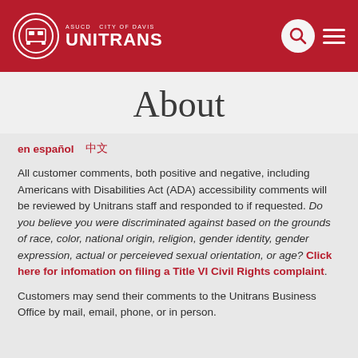ASUCD City of Davis UNITRANS
About
en español    中文
All customer comments, both positive and negative, including Americans with Disabilities Act (ADA) accessibility comments will be reviewed by Unitrans staff and responded to if requested. Do you believe you were discriminated against based on the grounds of race, color, national origin, religion, gender identity, gender expression, actual or perceieved sexual orientation, or age? Click here for infomation on filing a Title VI Civil Rights complaint.
Customers may send their comments to the Unitrans Business Office by mail, email, phone, or in person.